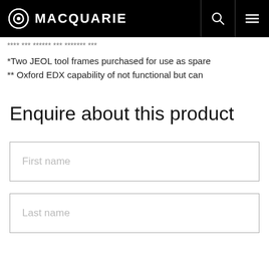MACQUARIE
*Two JEOL tool frames purchased for use as spare
** Oxford EDX capability of not functional but can
Enquire about this product
First name
Last name